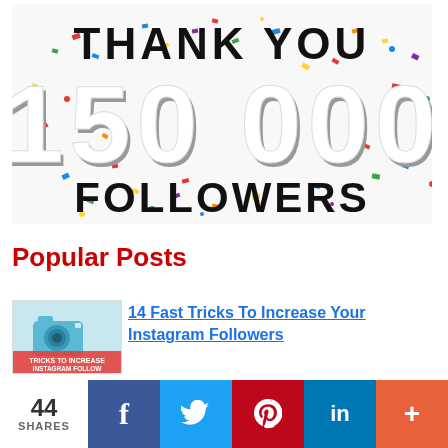[Figure (illustration): Thank You 150,000 Followers celebration image with colorful confetti and large white 3D numbers on white background]
Popular Posts
[Figure (photo): Thumbnail image for article about increasing Instagram followers, showing a camera icon with text 'Tricks to Increase Instagram Follow']
14 Fast Tricks To Increase Your Instagram Followers
44 SHARES